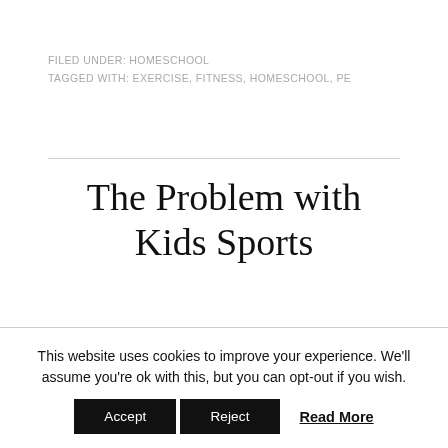FILED UNDER: HOMESCHOOL
TAGGED WITH: EXERCISE, FITNESS, HOMESCHOOL, PE
The Problem with Kids Sports
This blog may contain affiliate links: disclosure. Please see my suggested resources.
This website uses cookies to improve your experience. We'll assume you're ok with this, but you can opt-out if you wish.
Accept | Reject | Read More